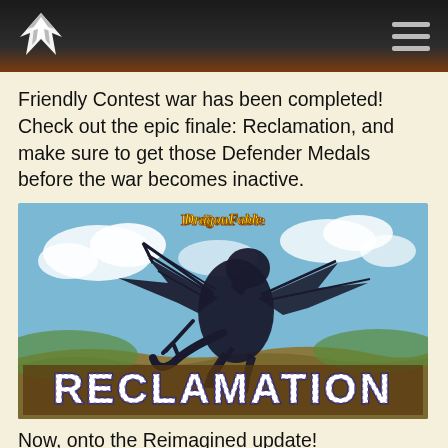DragonFable website header with logo and hamburger menu
Friendly Contest war has been completed! Check out the epic finale: Reclamation, and make sure to get those Defender Medals before the war becomes inactive.
[Figure (illustration): DragonFable game image showing a large dark dragon-like creature silhouetted against a blue cloudy sky with golden/brown terrain below, with 'RECLAMATION' text in large white block letters at the bottom and the DragonFable logo at the top center.]
Now, onto the Reimagined update!
We have four new armor customization options